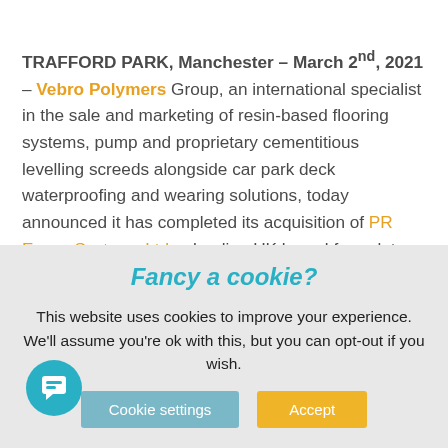TRAFFORD PARK, Manchester – March 2nd, 2021 – Vebro Polymers Group, an international specialist in the sale and marketing of resin-based flooring systems, pump and proprietary cementitious levelling screeds alongside car park deck waterproofing and wearing solutions, today announced it has completed its acquisition of PR Epoxy Systems Ltd, a leading UK based formulator and manufacturer of epoxy resin-based flooring, grouts, adhesives and intermediates, for an undisclosed sum.
Fancy a cookie?
This website uses cookies to improve your experience. We'll assume you're ok with this, but you can opt-out if you wish.